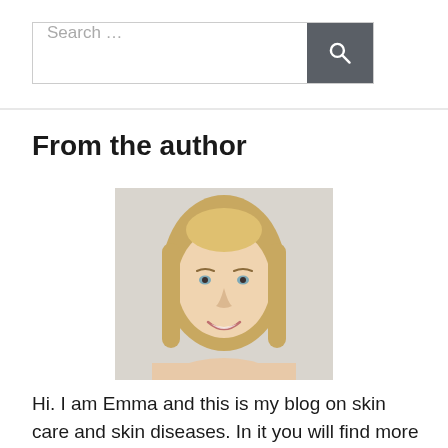[Figure (screenshot): Search bar with text 'Search ...' and a dark grey search button with magnifying glass icon]
From the author
[Figure (photo): Portrait photo of a smiling blonde woman (Emma), the blog author]
Hi. I am Emma and this is my blog on skin care and skin diseases. In it you will find more information about health, skin, hair and nails, and how to deal with various skin problems. Here I share my recipes for